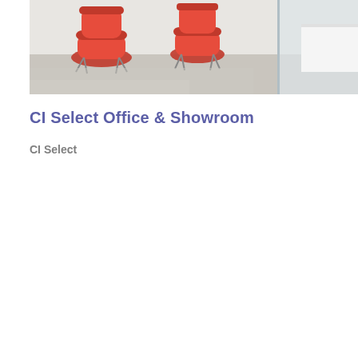[Figure (photo): Interior office and showroom photo showing red chairs and modern white furniture against a light floor and glass partition]
CI Select Office & Showroom
CI Select